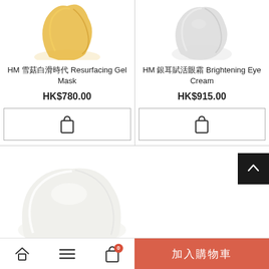[Figure (photo): Top portion of a gel/crystal product ingredient photo (amber/yellow colored)]
[Figure (photo): Top portion of a white cream product ingredient photo]
HM 雪菇白滑時代 Resurfacing Gel Mask
HM 銀耳賦活眼霜 Brightening Eye Cream
HK$780.00
HK$915.00
[Figure (screenshot): Add to cart button with shopping bag icon for left product]
[Figure (screenshot): Add to cart button with shopping bag icon for right product]
[Figure (photo): White cream product partially visible at bottom left]
加入購物車
Home | Menu | Cart (0) | 加入購物車